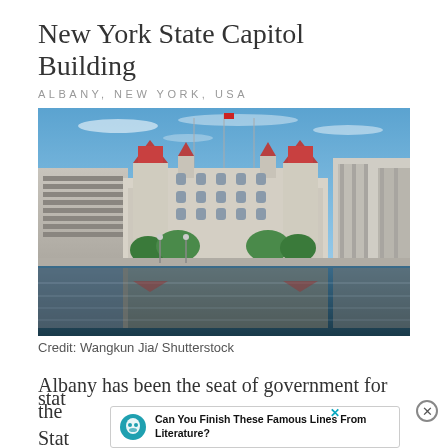New York State Capitol Building
ALBANY, NEW YORK, USA
[Figure (photo): Photograph of the New York State Capitol Building in Albany, NY, with its reflection in a pool of water in the foreground. The building features Gothic and Romanesque architecture with red-roofed towers. Modern government buildings flank it on either side. Blue sky with light clouds above.]
Credit: Wangkun Jia/ Shutterstock
Albany has been the seat of government for the state and the United States
Can You Finish These Famous Lines From Literature?